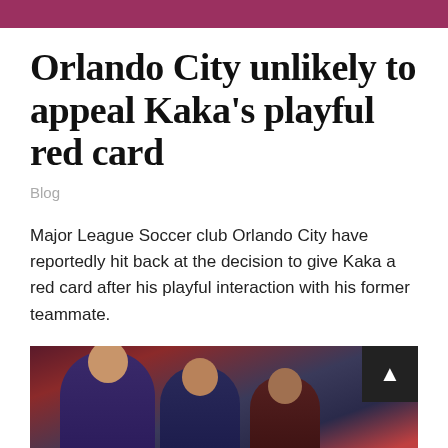Orlando City unlikely to appeal Kaka’s playful red card
Blog
Major League Soccer club Orlando City have reportedly hit back at the decision to give Kaka a red card after his playful interaction with his former teammate.
[Figure (photo): Soccer players in purple and red uniforms during a game, showing at least three players with crowd in background]